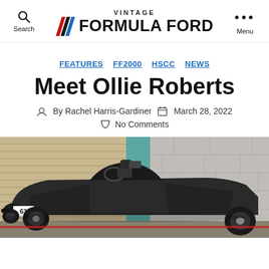Search | VINTAGE FORMULA FORD | Menu
FEATURES FF2000 HSCC NEWS
Meet Ollie Roberts
By Rachel Harris-Gardiner   March 28, 2022   No Comments
[Figure (photo): A vintage Formula Ford racing car, dark colored, number 63, parked in a garage/workshop with corrugated metal roller doors and a teal/blue pillar visible in the background.]